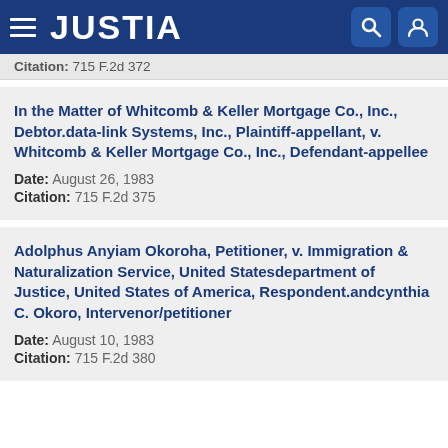JUSTIA
Citation: 715 F.2d 372
In the Matter of Whitcomb & Keller Mortgage Co., Inc., Debtor.data-link Systems, Inc., Plaintiff-appellant, v. Whitcomb & Keller Mortgage Co., Inc., Defendant-appellee
Date: August 26, 1983
Citation: 715 F.2d 375
Adolphus Anyiam Okoroha, Petitioner, v. Immigration & Naturalization Service, United Statesdepartment of Justice, United States of America, Respondent.andcynthia C. Okoro, Intervenor/petitioner
Date: August 10, 1983
Citation: 715 F.2d 380